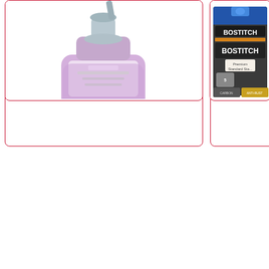List price: $31.00
Item #: CLO78902BX
ADD TO ORDER
SEE SIMILAR
List pr
Item #
ADD TO
SEE
[Figure (photo): Purple/pink soap or hand wash bottle with dispensing pump top, partially shown in a product card]
[Figure (photo): Bostitch Premium Standard Staples box/packaging, partially visible in a product card]